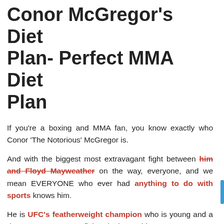Conor McGregor's Diet Plan- Perfect MMA Diet Plan
If you're a boxing and MMA fan, you know exactly who Conor 'The Notorious' McGregor is.
And with the biggest most extravagant fight between him and Floyd Mayweather on the way, everyone, and we mean EVERYONE who ever had anything to do with sports knows him.
He is UFC's featherweight champion who is young and a dream to every young fighter in the world.
Conor McGregor is planning to take on Boxing world's undefeated legend, Mayweather, who stands on a record of 49-